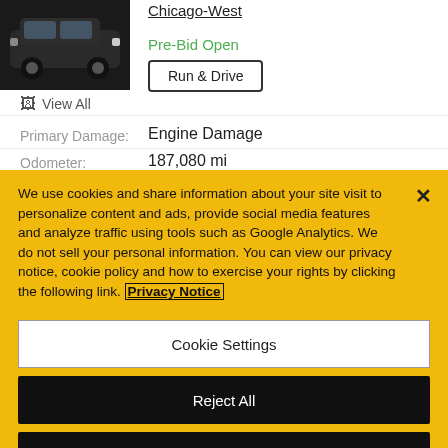[Figure (photo): Dark colored SUV vehicle listing thumbnail image]
Chicago-West
Pre-Bid Open
Run & Drive
View All
Primary Damage:   Engine Damage
Odometer:   187,080 mi
We use cookies and share information about your site visit to personalize content and ads, provide social media features and analyze traffic using tools such as Google Analytics. We do not sell your personal information. You can view our privacy notice, cookie policy and how to exercise your rights by clicking the following link. Privacy Notice
Cookie Settings
Reject All
Accept Cookies